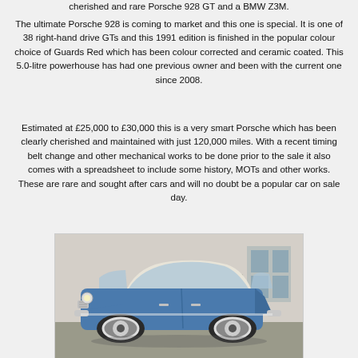cherished and rare Porsche 928 GT and a BMW Z3M.
The ultimate Porsche 928 is coming to market and this one is special. It is one of 38 right-hand drive GTs and this 1991 edition is finished in the popular colour choice of Guards Red which has been colour corrected and ceramic coated. This 5.0-litre powerhouse has had one previous owner and been with the current one since 2008.
Estimated at £25,000 to £30,000 this is a very smart Porsche which has been clearly cherished and maintained with just 120,000 miles. With a recent timing belt change and other mechanical works to be done prior to the sale it also comes with a spreadsheet to include some history, MOTs and other works. These are rare and sought after cars and will no doubt be a popular car on sale day.
[Figure (photo): Photo of a classic blue Mini car with white roof, parked on a driveway in front of a building. The car has chrome details and whitewall tyres.]